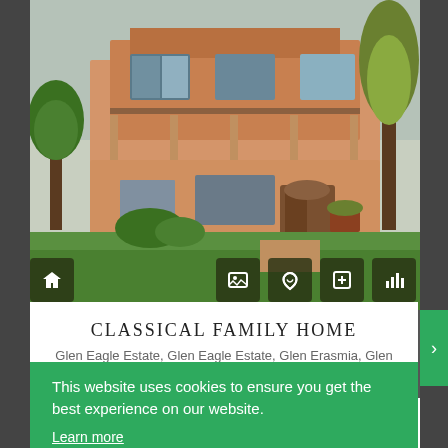[Figure (photo): Exterior photo of a classical family home with green lawn, garden trees, and a two-storey brown/beige house facade]
CLASSICAL FAMILY HOME
Glen Eagle Estate, Glen Eagle Estate, Glen Erasmia, Glen Marais 1619, South Africa
This website uses cookies to ensure you get the best experience on our website.
Learn more
Got it
4 garages, 1 carport